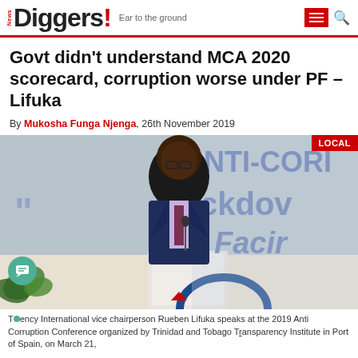News Diggers! Ear to the ground
Govt didn't understand MCA 2020 scorecard, corruption worse under PF – Lifuka
By Mukosha Funga Njenga, 26th November 2019
[Figure (photo): Transparency International vice chairperson Rueben Lifuka speaks at the 2019 Anti Corruption Conference organized by Trinidad and Tobago Transparency Institute in Port of Spain, on March 21, with LOCAL badge overlay]
Transparency International vice chairperson Rueben Lifuka speaks at the 2019 Anti Corruption Conference organized by Trinidad and Tobago Transparency Institute in Port of Spain, on March 21,